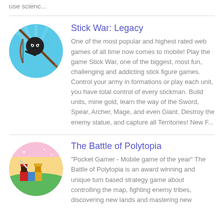use scienc...
Stick War: Legacy
One of the most popular and highest rated web games of all time now comes to mobile! Play the game Stick War, one of the biggest, most fun, challenging and addicting stick figure games. Control your army in formations or play each unit, you have total control of every stickman. Build units, mine gold, learn the way of the Sword, Spear, Archer, Mage, and even Giant. Destroy the enemy statue, and capture all Territories! New F...
[Figure (illustration): Circular app icon for Stick War: Legacy showing a stickman archer with a bow against a blue background]
The Battle of Polytopia
“Pocket Gamer - Mobile game of the year” The Battle of Polytopia is an award winning and unique turn based strategy game about controlling the map, fighting enemy tribes, discovering new lands and mastering new
[Figure (illustration): Circular app icon for The Battle of Polytopia showing blocky pixel-art characters on green terrain with pink-to-yellow gradient sky]